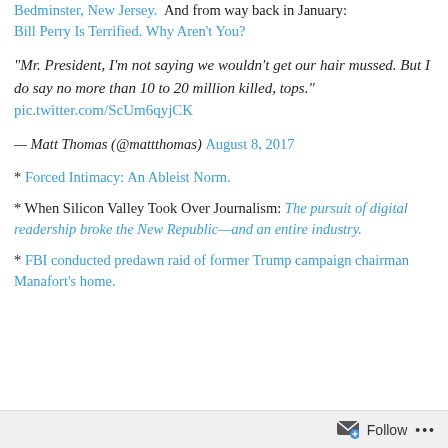Bedminster, New Jersey.  And from way back in January: Bill Perry Is Terrified. Why Aren't You?
“Mr. President, I’m not saying we wouldn’t get our hair mussed. But I do say no more than 10 to 20 million killed, tops.” pic.twitter.com/ScUm6qyjCK
— Matt Thomas (@mattthomas) August 8, 2017
* Forced Intimacy: An Ableist Norm.
* When Silicon Valley Took Over Journalism: The pursuit of digital readership broke the New Republic—and an entire industry.
* FBI conducted predawn raid of former Trump campaign chairman Manafort’s home.
Follow ...